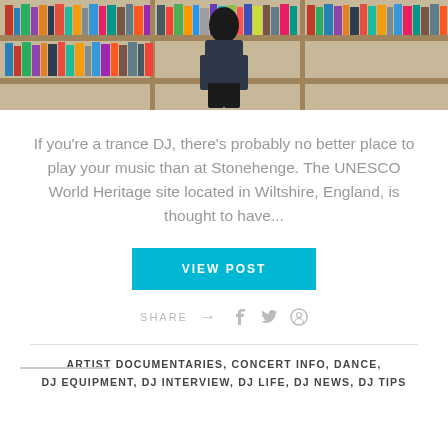[Figure (photo): Person standing in front of large shelves filled with vinyl records]
If you're a trance DJ, there's probably no better place to play your music than at Stonehenge. The UNESCO World Heritage site located in Wiltshire, England, is thought to have...
VIEW POST
SHARE →
ARTIST DOCUMENTARIES, CONCERT INFO, DANCE, DJ EQUIPMENT, DJ INTERVIEW, DJ LIFE, DJ NEWS, DJ TIPS